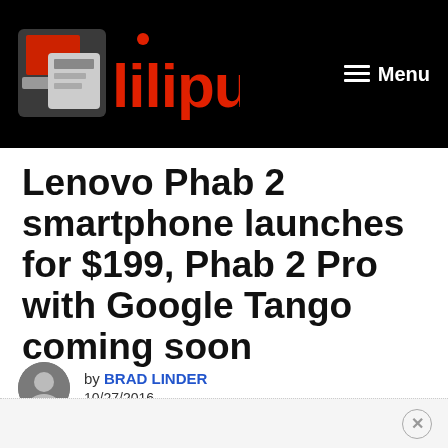Liliputing — Menu
Lenovo Phab 2 smartphone launches for $199, Phab 2 Pro with Google Tango coming soon
by BRAD LINDER
10/27/2016
Comments Off